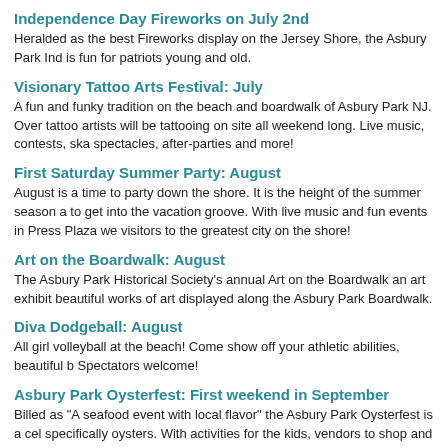Independence Day Fireworks on July 2nd
Heralded as the best Fireworks display on the Jersey Shore, the Asbury Park Ind is fun for patriots young and old.
Visionary Tattoo Arts Festival: July
A fun and funky tradition on the beach and boardwalk of Asbury Park NJ. Over tattoo artists will be tattooing on site all weekend long. Live music, contests, ska spectacles, after-parties and more!
First Saturday Summer Party: August
August is a time to party down the shore. It is the height of the summer season a to get into the vacation groove. With live music and fun events in Press Plaza we visitors to the greatest city on the shore!
Art on the Boardwalk: August
The Asbury Park Historical Society's annual Art on the Boardwalk an art exhibit beautiful works of art displayed along the Asbury Park Boardwalk.
Diva Dodgeball: August
All girl volleyball at the beach! Come show off your athletic abilities, beautiful b Spectators welcome!
Asbury Park Oysterfest: First weekend in September
Billed as "A seafood event with local flavor" the Asbury Park Oysterfest is a cel specifically oysters. With activities for the kids, vendors to shop and great seafoo don't want to miss.
Asbury Angels Bench Plaque Unveiling Ceremony: September